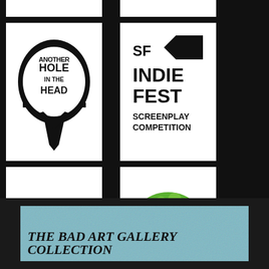[Figure (logo): Another Hole in the Head film festival logo - stylized text forming a head silhouette]
[Figure (logo): SF IndieFest Screenplay Competition logo - bold black text on white]
[Figure (logo): SF Indie Shorts San Francisco logo - red SF letters with indie shorts text]
[Figure (logo): Green Film Festival of San Francisco logo - green bubble circle with text]
[Figure (illustration): The Bad Art Gallery Collection - teal/blue textured background with bold italic serif title text]